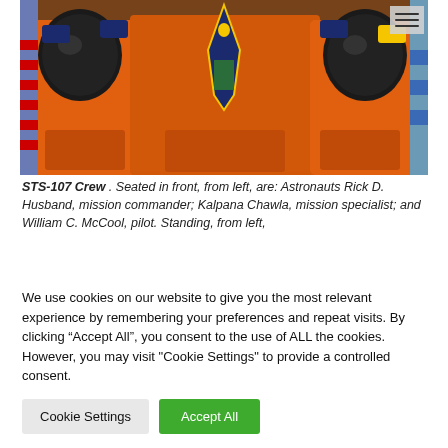[Figure (photo): Group photo of astronauts in orange space suits with black helmets, holding a mission patch. The STS-107 crew photo.]
STS-107 Crew . Seated in front, from left, are: Astronauts Rick D. Husband, mission commander; Kalpana Chawla, mission specialist; and William C. McCool, pilot. Standing, from left,
We use cookies on our website to give you the most relevant experience by remembering your preferences and repeat visits. By clicking “Accept All”, you consent to the use of ALL the cookies. However, you may visit "Cookie Settings" to provide a controlled consent.